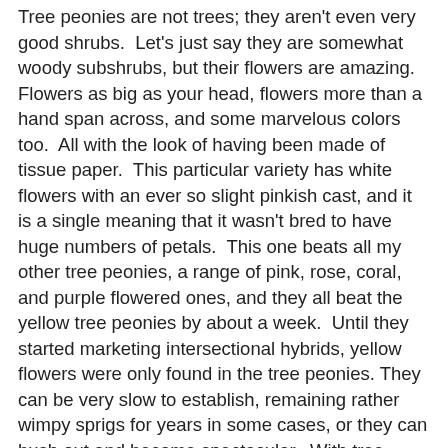Tree peonies are not trees; they aren't even very good shrubs. Let's just say they are somewhat woody subshrubs, but their flowers are amazing. Flowers as big as your head, flowers more than a hand span across, and some marvelous colors too. All with the look of having been made of tissue paper. This particular variety has white flowers with an ever so slight pinkish cast, and it is a single meaning that it wasn't bred to have huge numbers of petals. This one beats all my other tree peonies, a range of pink, rose, coral, and purple flowered ones, and they all beat the yellow tree peonies by about a week. Until they started marketing intersectional hybrids, yellow flowers were only found in the tree peonies. They can be very slow to establish, remaining rather wimpy sprigs for years in some cases, or they can bush out and become spectacular. With tree peonies you get what you pay for (except maybe the color - the Phactor has been stiffed a couple of times); older plants cost more, but 3-5 yr